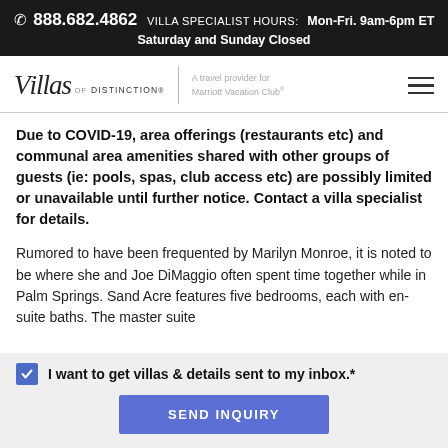☎ 888.682.4862  VILLA SPECIALIST HOURS:  Mon-Fri. 9am-6pm ET  Saturday and Sunday Closed
[Figure (logo): Villas of Distinction logo with tagline 'A travel provider for Marriott Vacation Club' and hamburger menu icon]
Due to COVID-19, area offerings (restaurants etc) and communal area amenities shared with other groups of guests (ie: pools, spas, club access etc) are possibly limited or unavailable until further notice. Contact a villa specialist for details.
Rumored to have been frequented by Marilyn Monroe, it is noted to be where she and Joe DiMaggio often spent time together while in Palm Springs. Sand Acre features five bedrooms, each with en-suite baths. The master suite
✓ I want to get villas & details sent to my inbox.*
SEND INQUIRY